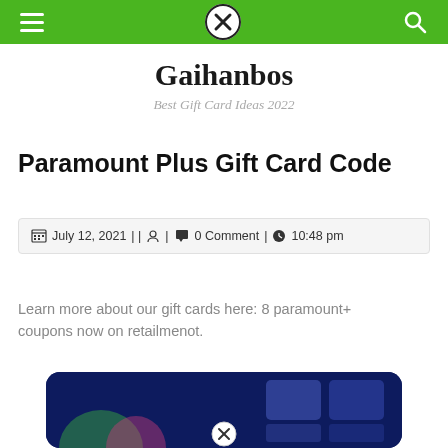Gaihanbos navigation bar
Gaihanbos
Best Gift Card Ideas 2022
Paramount Plus Gift Card Code
July 12, 2021 | | ⎙ | 💬 0 Comment | ⏰ 10:48 pm
Learn more about our gift cards here: 8 paramount+ coupons now on retailmenot.
[Figure (screenshot): Partial screenshot of a Paramount+ promotional image with dark blue background and colorful content thumbnails]